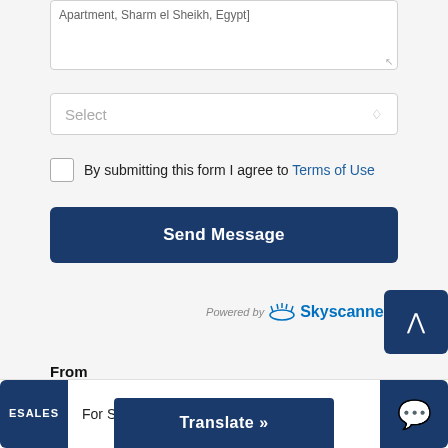Apartment, Sharm el Sheikh, Egypt
Select
By submitting this form I agree to Terms of Use
Send Message
Powered by Skyscanner
From
For Sale By Owner
Translate »